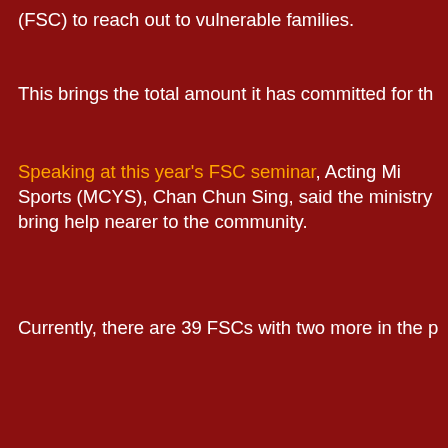(FSC) to reach out to vulnerable families.
This brings the total amount it has committed for th
Speaking at this year's FSC seminar, Acting Mi Sports (MCYS), Chan Chun Sing, said the ministry bring help nearer to the community.
Currently, there are 39 FSCs with two more in the p
[Figure (screenshot): Embedded YouTube video player showing 'Video unavailable' message. Text reads: 'This video is no longer available because the YouTube account associated with this video has been terminated.']